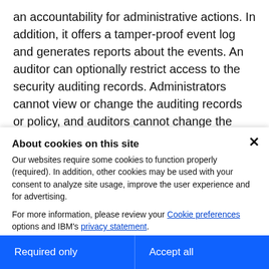an accountability for administrative actions. In addition, it offers a tamper-proof event log and generates reports about the events. An auditor can optionally restrict access to the security auditing records. Administrators cannot view or change the auditing records or policy, and auditors cannot change the WebSphere Application Server configuration or runtime state.
About cookies on this site
Our websites require some cookies to function properly (required). In addition, other cookies may be used with your consent to analyze site usage, improve the user experience and for advertising.

For more information, please review your Cookie preferences options and IBM's privacy statement.
Required only
Accept all